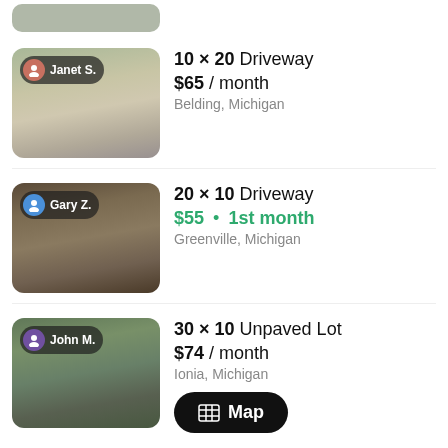[Figure (screenshot): Top partial thumbnail of a parking/driveway listing]
10 × 20 Driveway $65 / month Belding, Michigan — Janet S.
20 × 10 Driveway $55 1st month Greenville, Michigan — Gary Z.
30 × 10 Unpaved Lot $74 / month Ionia, Michigan — John M. Map button
20 × 10 Unpaved Lot — Jeff K.